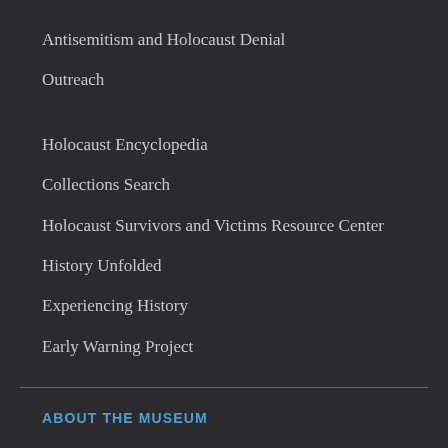Antisemitism and Holocaust Denial
Outreach
Holocaust Encyclopedia
Collections Search
Holocaust Survivors and Victims Resource Center
History Unfolded
Experiencing History
Early Warning Project
ABOUT THE MUSEUM